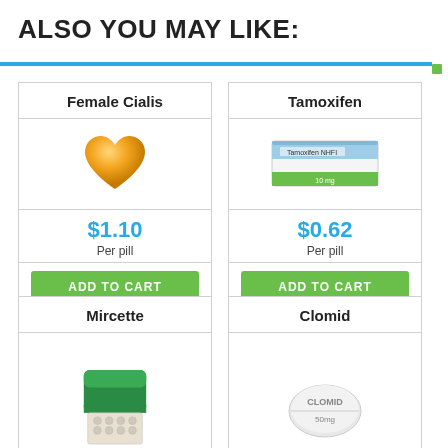ALSO YOU MAY LIKE:
Female Cialis | $1.10 Per pill | ADD TO CART
Tamoxifen | $0.62 Per pill | ADD TO CART
Mircette
Clomid